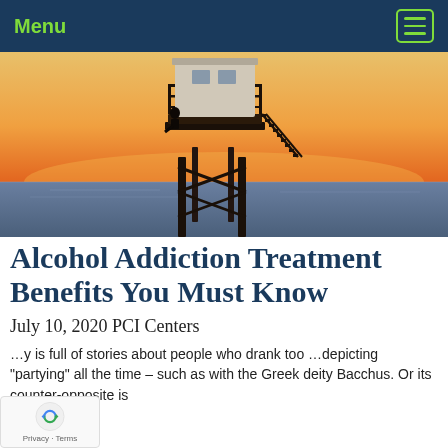Menu
[Figure (photo): Silhouette of a lifeguard tower at sunset with warm orange sky and calm ocean in the background. A person is seated on the tower platform.]
Alcohol Addiction Treatment Benefits You Must Know
July 10, 2020 PCI Centers
…y is full of stories about people who drank too …depicting "partying" all the time – such as with the Greek deity Bacchus. Or its counter-opposite is